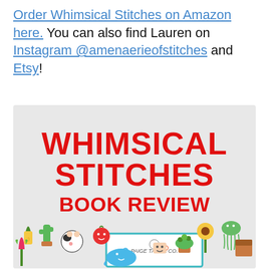Order Whimsical Stitches on Amazon here. You can also find Lauren on Instagram @amenaerieofstitches and Etsy!
[Figure (infographic): Promotional graphic with light gray background. Large red bold text reads 'WHIMSICAL STITCHES BOOK REVIEW' with URL 'www.tinycurl.co' below in red. Bottom portion shows book cover with colorful crocheted amigurumi characters including a cow, cactus, sunflower, jellyfish, whale, tulip, and other cute figures. Paige Tate & Co. logo visible.]